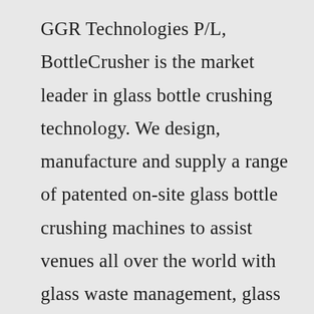GGR Technologies P/L, BottleCrusher is the market leader in glass bottle crushing technology. We design, manufacture and supply a range of patented on-site glass bottle crushing machines to assist venues all over the world with glass waste management, glass recycling and glass volume reduction. Our machines allow ...RUNI Screw Compactors for Compacting Plastic Bottles: SK240 compactor with a